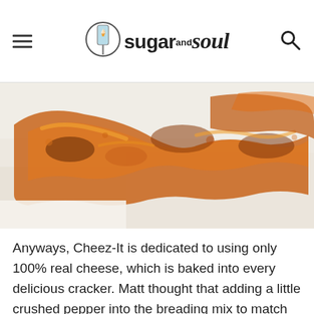sugar and soul
[Figure (photo): Close-up photo of golden-brown breaded fried chicken pieces on white parchment paper]
Anyways, Cheez-It is dedicated to using only 100% real cheese, which is baked into every delicious cracker. Matt thought that adding a little crushed pepper into the breading mix to match that bold cheddar flavor would pair nicely with the Spicy Thai Peanut Sauce he whipped up to dip these puppies in!
I never played basketball. I was way too short and